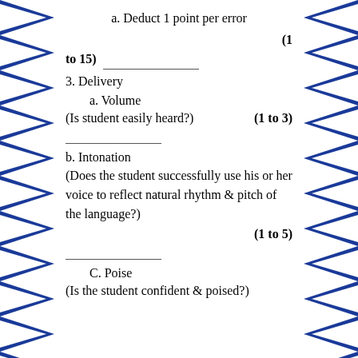a. Deduct 1 point per error
(1 to 15) _______________
3. Delivery
a. Volume
(Is student easily heard?) (1 to 3)
b. Intonation
(Does the student successfully use his or her voice to reflect natural rhythm & pitch of the language?)
(1 to 5)
C. Poise
(Is the student confident & poised?)